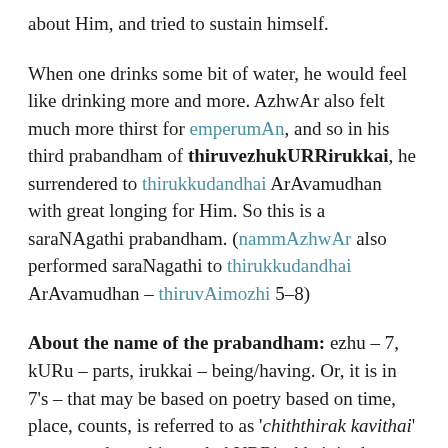about Him, and tried to sustain himself.
When one drinks some bit of water, he would feel like drinking more and more. AzhwAr also felt much more thirst for emperumAn, and so in his third prabandham of thiruvezhukURRirukkai, he surrendered to thirukkudandhai ArAvamudhan with great longing for Him. So this is a saraNAgathi prabandham. (nammAzhwAr also performed saraNagathi to thirukkudandhai ArAvamudhan – thiruvAimozhi 5–8)
About the name of the prabandham: ezhu – 7, kURu – parts, irukkai – being/having. Or, it is in 7's – that may be based on poetry based on time, place, counts, is referred to as 'chiththirak kavithai' – we can draw thiruvezhukURRirukkai, in the form of a chariot. The chariot starts with a small width and becomes wider and wider. In the same way, thiruvezhukURRirukkai